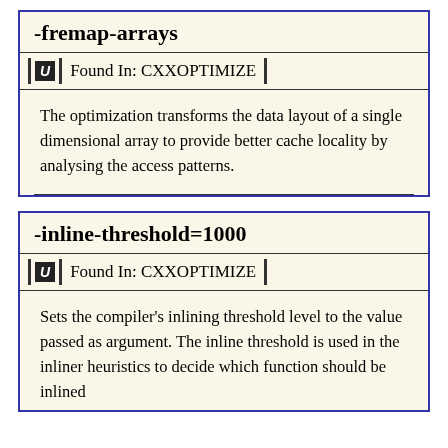-fremap-arrays
Found In: CXXOPTIMIZE
The optimization transforms the data layout of a single dimensional array to provide better cache locality by analysing the access patterns.
-inline-threshold=1000
Found In: CXXOPTIMIZE
Sets the compiler's inlining threshold level to the value passed as argument. The inline threshold is used in the inliner heuristics to decide which function should be inlined